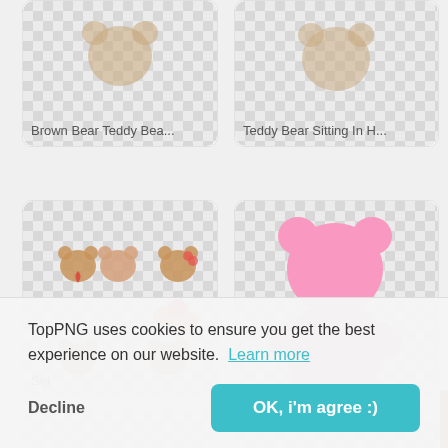[Figure (screenshot): Screenshot of TopPNG image search results showing teddy bear clipart images in a grid layout with a cookie consent banner overlay]
Brown Bear Teddy Bea...
Teddy Bear Sitting In H...
[Figure (photo): Grid of teddy bear clipart illustrations with heart and flower motifs on checker transparent background]
[Figure (illustration): Pink teddy bear silhouette on checker transparent background]
Set
TopPNG uses cookies to ensure you get the best experience on our website.  Learn more
Decline
OK, i'm agree :)